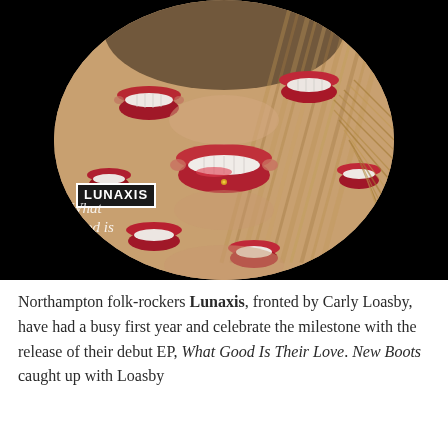[Figure (photo): Album cover artwork for Lunaxis 'What Good Is Their Love' EP, showing a circular image on a black background featuring a kaleidoscopic collage of a woman's smiling mouth with red lipstick repeated in a mirror-like pattern, with long blonde hair visible. A white-bordered box reading 'LUNAXIS' appears in the lower left, with italic script text below reading 'What good is their love'.]
Northampton folk-rockers Lunaxis, fronted by Carly Loasby, have had a busy first year and celebrate the milestone with the release of their debut EP, What Good Is Their Love. New Boots caught up with Loasby